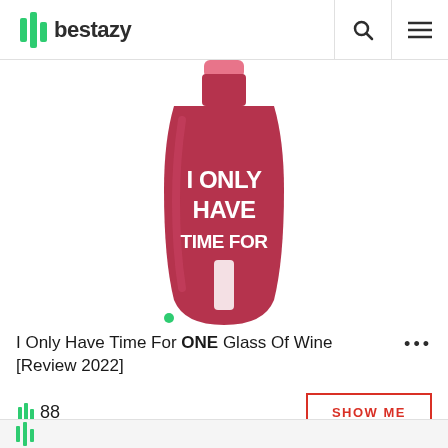bestazy
[Figure (photo): A dark pink/red wine bottle shaped like a rounded flask with white text reading 'I ONLY HAVE TIME FOR' on the front label, with a pink cap on top.]
I Only Have Time For ONE Glass Of Wine [Review 2022]
88
SHOW ME